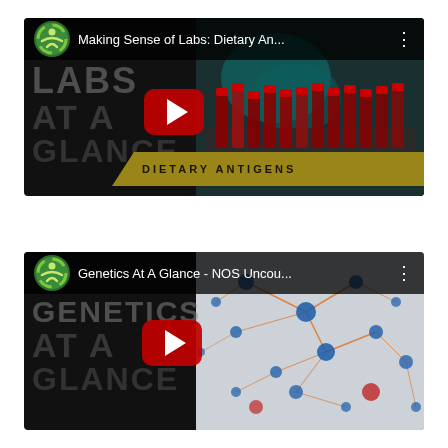[Figure (screenshot): YouTube video thumbnail for 'Making Sense of Labs: Dietary An...' showing a dark background with 'LABS AT A GLANCE' text, a play button, lab blood tubes on the right, and a gold banner reading 'DIETARY ANTIGENS']
[Figure (screenshot): YouTube video thumbnail for 'Genetics At A Glance - NOS Uncou...' showing a dark background with 'GENETICS AT A GLANCE' text, a play button, and a network/neuron diagram on the right]